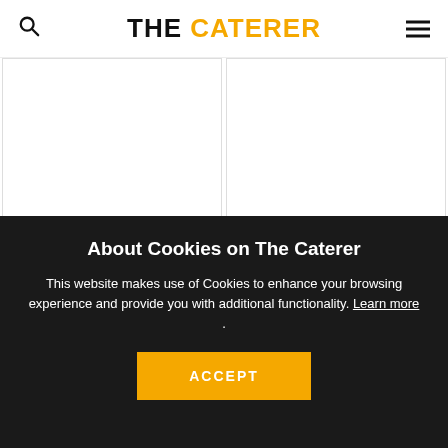THE CATERER
[Figure (photo): Article card image placeholder left]
[Figure (photo): Article card image placeholder right]
NEWS
NEWS
More details on
UKHospitality calls for
About Cookies on The Caterer
This website makes use of Cookies to enhance your browsing experience and provide you with additional functionality. Learn more .
ACCEPT